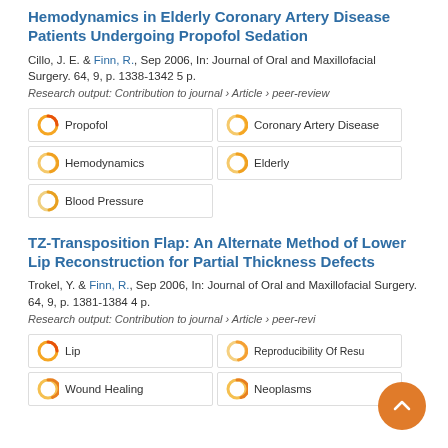Hemodynamics in Elderly Coronary Artery Disease Patients Undergoing Propofol Sedation
Cillo, J. E. & Finn, R., Sep 2006, In: Journal of Oral and Maxillofacial Surgery. 64, 9, p. 1338-1342 5 p.
Research output: Contribution to journal › Article › peer-review
Propofol
Coronary Artery Disease
Hemodynamics
Elderly
Blood Pressure
TZ-Transposition Flap: An Alternate Method of Lower Lip Reconstruction for Partial Thickness Defects
Trokel, Y. & Finn, R., Sep 2006, In: Journal of Oral and Maxillofacial Surgery. 64, 9, p. 1381-1384 4 p.
Research output: Contribution to journal › Article › peer-review
Lip
Reproducibility Of Results
Wound Healing
Neoplasms